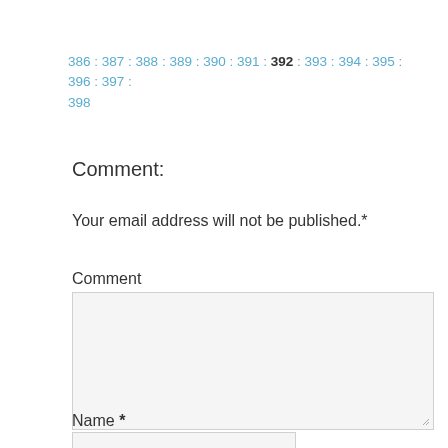386 : 387 : 388 : 389 : 390 : 391 : 392 : 393 : 394 : 395 : 396 : 397 : 398
Comment:
Your email address will not be published.*
Comment
[Figure (screenshot): Empty comment textarea input field with light gray background]
Name *
[Figure (screenshot): Empty name input field with light gray background]